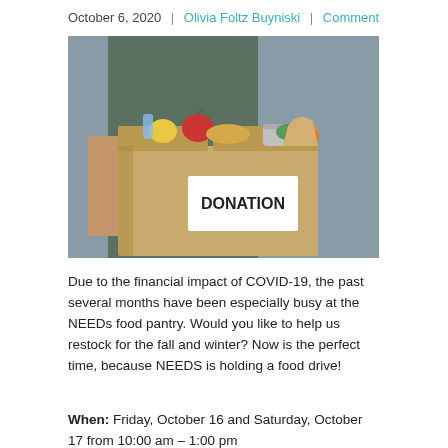October 6, 2020 | Olivia Foltz Buyniski | Comment
[Figure (photo): Person holding a large cardboard donation box filled with food items including fruits, vegetables, and canned goods. The box has a white label reading DONATION in bold black letters.]
Due to the financial impact of COVID-19, the past several months have been especially busy at the NEEDs food pantry. Would you like to help us restock for the fall and winter? Now is the perfect time, because NEEDS is holding a food drive!
When: Friday, October 16 and Saturday, October 17 from 10:00 am – 1:00 pm